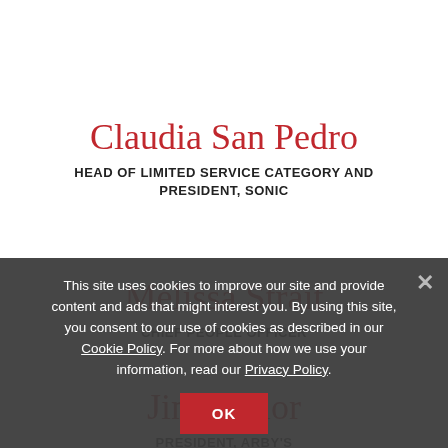Claudia San Pedro
HEAD OF LIMITED SERVICE CATEGORY AND PRESIDENT, SONIC
Melissa Strait
CHIEF PEOPLE OFFICER
Jim Taylor
PRESIDENT, ARBY'S
This site uses cookies to improve our site and provide content and ads that might interest you. By using this site, you consent to our use of cookies as described in our Cookie Policy. For more about how we use your information, read our Privacy Policy.